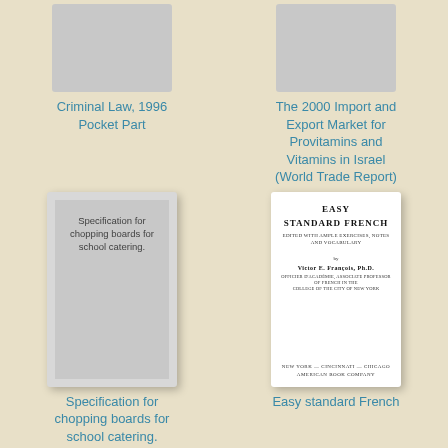[Figure (illustration): Gray book cover thumbnail for Criminal Law 1996 Pocket Part]
Criminal Law, 1996 Pocket Part
[Figure (illustration): Gray book cover thumbnail for The 2000 Import and Export Market for Provitamins and Vitamins in Israel (World Trade Report)]
The 2000 Import and Export Market for Provitamins and Vitamins in Israel (World Trade Report)
[Figure (illustration): Book cover showing text: Specification for chopping boards for school catering.]
Specification for chopping boards for school catering.
[Figure (illustration): Book cover for Easy Standard French by Victor E. François, Ph.D., American Book Company]
Easy standard French
[Figure (illustration): Partial gray book cover at bottom left]
[Figure (illustration): Partial gray book cover at bottom right]